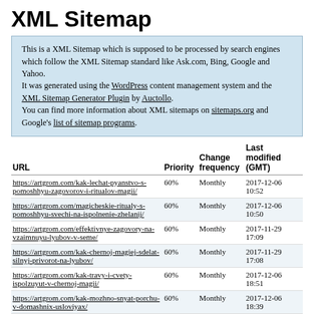XML Sitemap
This is a XML Sitemap which is supposed to be processed by search engines which follow the XML Sitemap standard like Ask.com, Bing, Google and Yahoo.
It was generated using the WordPress content management system and the XML Sitemap Generator Plugin by Auctollo.
You can find more information about XML sitemaps on sitemaps.org and Google's list of sitemap programs.
| URL | Priority | Change frequency | Last modified (GMT) |
| --- | --- | --- | --- |
| https://artgrom.com/kak-lechat-pyanstvo-s-pomoshhyu-zagovorov-i-ritualov-magii/ | 60% | Monthly | 2017-12-06 10:52 |
| https://artgrom.com/magicheskie-ritualy-s-pomoshhyu-svechi-na-ispolnenie-zhelanij/ | 60% | Monthly | 2017-12-06 10:50 |
| https://artgrom.com/effektivnye-zagovory-na-vzaimnuyu-lyubov-v-seme/ | 60% | Monthly | 2017-11-29 17:09 |
| https://artgrom.com/kak-chernoj-magiej-sdelat-silnyj-privorot-na-lyubov/ | 60% | Monthly | 2017-11-29 17:08 |
| https://artgrom.com/kak-travy-i-cvety-ispolzuyut-v-chernoj-magii/ | 60% | Monthly | 2017-12-06 18:51 |
| https://artgrom.com/kak-mozhno-snyat-porchu-v-domashnix-usloviyax/ | 60% | Monthly | 2017-12-06 18:39 |